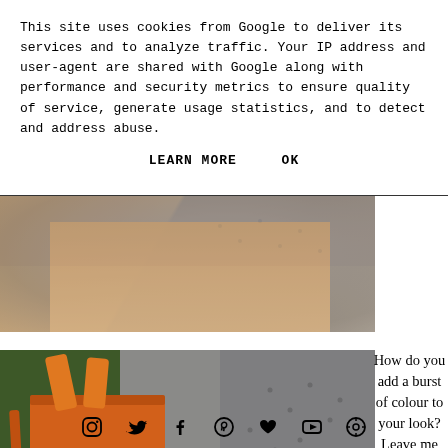This site uses cookies from Google to deliver its services and to analyze traffic. Your IP address and user-agent are shared with Google along with performance and security metrics to ensure quality of service, generate usage statistics, and to detect and address abuse.
LEARN MORE    OK
[Figure (photo): Cropped photo showing a person's legs and lower body wearing a grey patterned shorts/romper, standing on a sandy/gravelly surface. Turquoise nail polish visible on hand.]
[Figure (photo): Photo of a person holding an orange structured tote handbag with a long strap, wearing a grey dotted dress. Green foliage in background.]
How do you add a burst of colour to your look? Leave me any comments
[social media icons: Instagram, Twitter, Facebook, Pinterest, Heart, YouTube, settings/other]